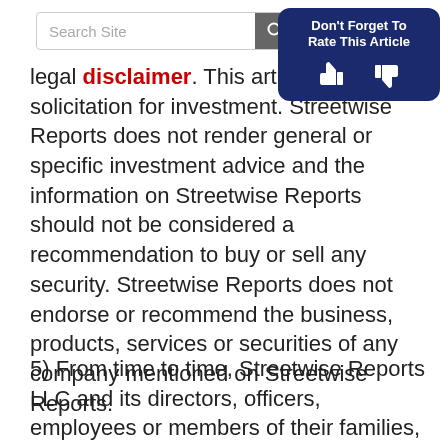Search Site | Don't Forget To Rate This Article
legal disclaimer. This article is not a solicitation for investment. Streetwise Reports does not render general or specific investment advice and the information on Streetwise Reports should not be considered a recommendation to buy or sell any security. Streetwise Reports does not endorse or recommend the business, products, services or securities of any company mentioned on Streetwise Reports.
5) From time to time, Streetwise Reports LLC and its directors, officers, employees or members of their families, as well as persons interviewed for articles and interviews on the